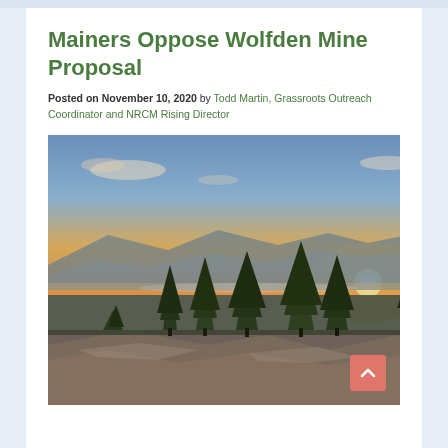Mainers Oppose Wolfden Mine Proposal
Posted on November 10, 2020 by Todd Martin, Grassroots Outreach Coordinator and NRCM Rising Director
[Figure (photo): Landscape photo of a rocky summit with evergreen trees in the foreground and a dramatic sunset over distant mountains and a lake or river valley below. The sky is orange and yellow near the horizon with blue tones above and scattered clouds.]